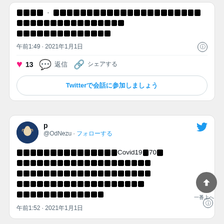████ · ███████████████████████████████████████████████████████
午前1:49 · 2021年1月1日
♥ 13 💬 返信 🔗 シェアする
Twitterで会話に参加しましょう
p
@OdNezu · フォローする
████████████████████Covid19█70█████████████████████████████████████████████████████████████████████████████████████████████████████████████
午前1:52 · 2021年1月1日